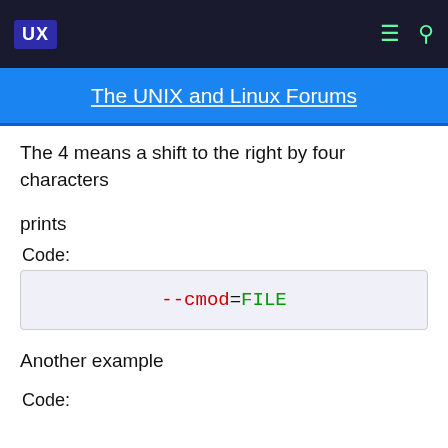UX | The UNIX and Linux Forums
The 4 means a shift to the right by four characters
prints
Code:
--cmod=FILE
Another example
Code: